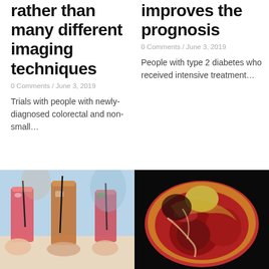rather than many different imaging techniques
0 Comments / June 3, 2019
Trials with people with newly-diagnosed colorectal and non-small…
improves the prognosis
0 Comments / June 3, 2019
People with type 2 diabetes who received intensive treatment…
[Figure (photo): Hands holding colorful cocktail drinks with straws at a bar or restaurant gathering]
[Figure (illustration): Medical anatomical illustration of a cross-section of the human heart with red and yellow tissues on black background]